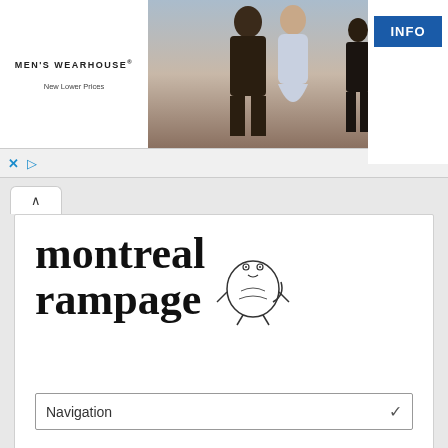[Figure (screenshot): Men's Wearhouse advertisement banner with couple in formal wear and an INFO button]
montreal rampage
Navigation
Get Moving to the Bouge d’Ici
Posted on December 22, 2015. Written by Rachel Levine